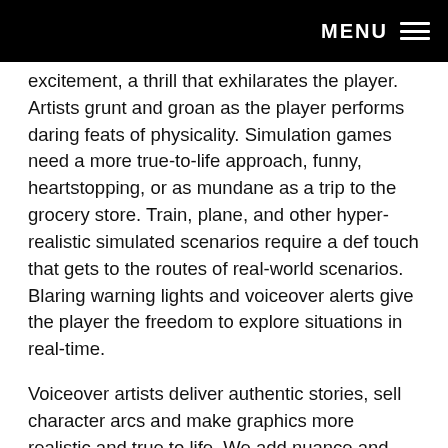MENU
excitement, a thrill that exhilarates the player. Artists grunt and groan as the player performs daring feats of physicality. Simulation games need a more true-to-life approach, funny, heartstopping, or as mundane as a trip to the grocery store. Train, plane, and other hyper-realistic simulated scenarios require a def touch that gets to the routes of real-world scenarios. Blaring warning lights and voiceover alerts give the player the freedom to explore situations in real-time.
Voiceover artists deliver authentic stories, sell character arcs and make graphics more realistic and true to life. We add nuance and backstory through intonation and get the player’s heart pumping by dropping in critical information and player mechanics as seamlessly as possible.
Voiceover and World Wide Reach